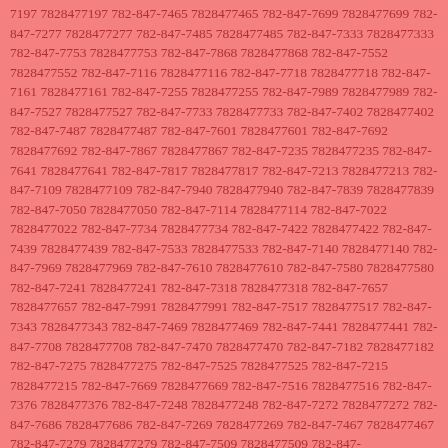7197 7828477197 782-847-7465 7828477465 782-847-7699 7828477699 782-847-7277 7828477277 782-847-7485 7828477485 782-847-7333 7828477333 782-847-7753 7828477753 782-847-7868 7828477868 782-847-7552 7828477552 782-847-7116 7828477116 782-847-7718 7828477718 782-847-7161 7828477161 782-847-7255 7828477255 782-847-7989 7828477989 782-847-7527 7828477527 782-847-7733 7828477733 782-847-7402 7828477402 782-847-7487 7828477487 782-847-7601 7828477601 782-847-7692 7828477692 782-847-7867 7828477867 782-847-7235 7828477235 782-847-7641 7828477641 782-847-7817 7828477817 782-847-7213 7828477213 782-847-7109 7828477109 782-847-7940 7828477940 782-847-7839 7828477839 782-847-7050 7828477050 782-847-7114 7828477114 782-847-7022 7828477022 782-847-7734 7828477734 782-847-7422 7828477422 782-847-7439 7828477439 782-847-7533 7828477533 782-847-7140 7828477140 782-847-7969 7828477969 782-847-7610 7828477610 782-847-7580 7828477580 782-847-7241 7828477241 782-847-7318 7828477318 782-847-7657 7828477657 782-847-7991 7828477991 782-847-7517 7828477517 782-847-7343 7828477343 782-847-7469 7828477469 782-847-7441 7828477441 782-847-7708 7828477708 782-847-7470 7828477470 782-847-7182 7828477182 782-847-7275 7828477275 782-847-7525 7828477525 782-847-7215 7828477215 782-847-7669 7828477669 782-847-7516 7828477516 782-847-7376 7828477376 782-847-7248 7828477248 782-847-7272 7828477272 782-847-7686 7828477686 782-847-7269 7828477269 782-847-7467 7828477467 782-847-7279 7828477279 782-847-7509 7828477509 782-847-